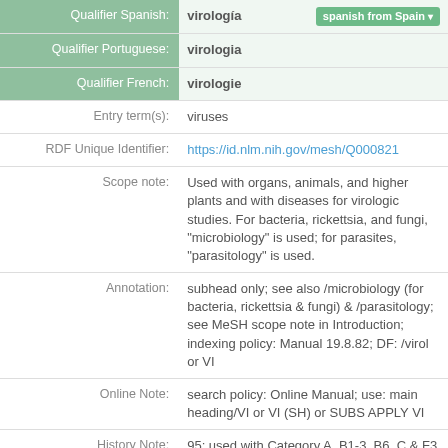| Label | Value |
| --- | --- |
| Qualifier Spanish: | virología  [spanish from Spain ▾] |
| Qualifier Portuguese: | virologia |
| Qualifier French: | virologie |
| Entry term(s): | viruses |
| RDF Unique Identifier: | https://id.nlm.nih.gov/mesh/Q000821 |
| Scope note: | Used with organs, animals, and higher plants and with diseases for virologic studies. For bacteria, rickettsia, and fungi, "microbiology" is used; for parasites, "parasitology" is used. |
| Annotation: | subhead only; see also /microbiology (for bacteria, rickettsia & fungi) & /parasitology; see MeSH scope note in Introduction; indexing policy: Manual 19.8.82; DF: /virol or VI |
| Online Note: | search policy: Online Manual; use: main heading/VI or VI (SH) or SUBS APPLY VI |
| History Note: | 95; used with Category A, B1-3, B6, C & F3 1995 forward |
| Entry Version: | VIROL |